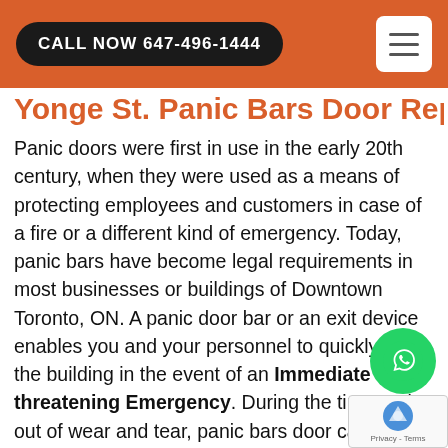CALL NOW 647-496-1444
Yonge St. Panic Bars Door Repair
Panic doors were first in use in the early 20th century, when they were used as a means of protecting employees and customers in case of a fire or a different kind of emergency. Today, panic bars have become legal requirements in most businesses or buildings of Downtown Toronto, ON. A panic door bar or an exit device enables you and your personnel to quickly exit the building in the event of an Immediate Life-threatening Emergency. During the time and out of wear and tear, panic bars door can break and get damaged. At Door Repair Yonge St we are able to repair panic bars doors for your convenience. Door Repair Yonge St in Yonge St, ON is ready to